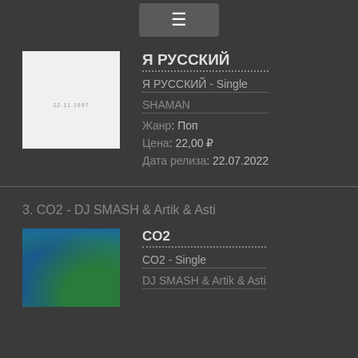[Figure (screenshot): Hamburger menu button (three lines icon) on grey background]
[Figure (photo): Album art for Я РУССКИЙ - white/light grey square with small date text 22.11.1997]
Я РУССКИЙ
Я РУССКИЙ - Single
SHAMAN
Жанр: Поп
Цена: 22,00 ₽
Дата релиза: 22.07.2022
3. CO2 - DJ SMASH & Artik & Asti
[Figure (illustration): Album art for CO2 - colorful underwater/mermaid themed illustration]
CO2
CO2 - Single
DJ SMASH & Artik & Asti